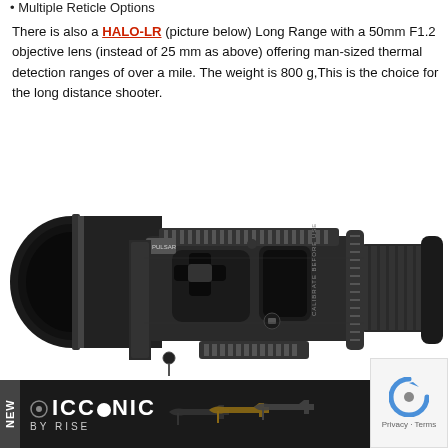Multiple Reticle Options
There is also a HALO-LR (picture below) Long Range with a 50mm F1.2 objective lens (instead of 25 mm as above) offering man-sized thermal detection ranges of over a mile. The weight is 800 g,This is the choice for the long distance shooter.
[Figure (photo): Side view of the HALO-LR thermal rifle scope — a black cylindrical device with a large 50mm objective lens on the left, control buttons in the center body, rail mount underneath, and eyepiece on the right.]
In additi... expand t...
[Figure (infographic): Advertisement banner: dark background with NEW label, ICONIC BY RISE branding, and silhouettes of rifles in various colors.]
[Figure (other): reCAPTCHA widget showing Privacy - Terms text.]